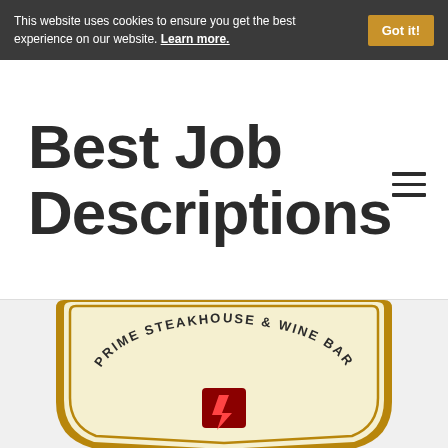This website uses cookies to ensure you get the best experience on our website. Learn more.
Best Job Descriptions
[Figure (logo): Prime Steakhouse & Wine Bar badge/logo with gold border and dark red emblem in the center]